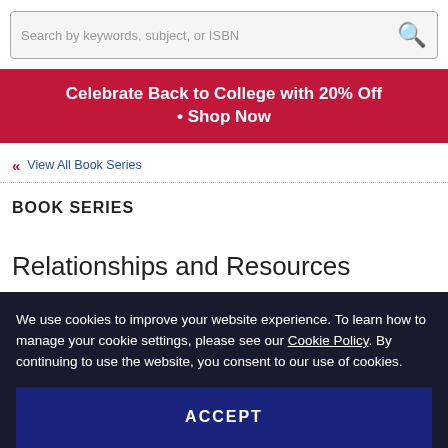[Figure (screenshot): Search bar with placeholder text 'Search by keywords, subject, or ISBN' and a search icon on the right]
Celebrate Back to College with 20% Off • Shop Now
« View All Book Series
BOOK SERIES
Relationships and Resources
We use cookies to improve your website experience. To learn how to manage your cookie settings, please see our Cookie Policy. By continuing to use the website, you consent to our use of cookies.
ACCEPT